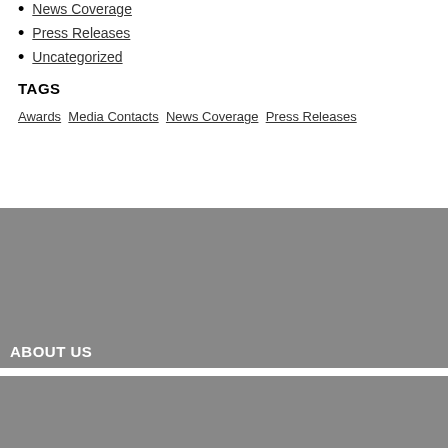News Coverage
Press Releases
Uncategorized
TAGS
Awards  Media Contacts  News Coverage  Press Releases
[Figure (other): Gray banner area with ABOUT US heading in white text at bottom left]
[Figure (other): Gray area with small image placeholder at top left]